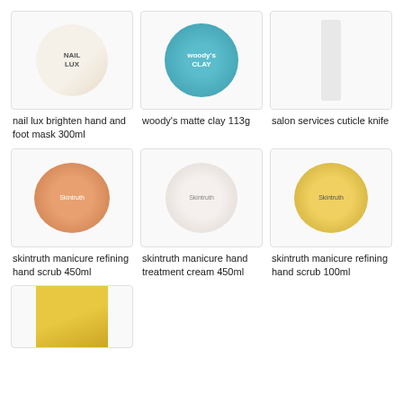[Figure (photo): Nail Lux brighten hand and foot mask jar, white/cream colored round container]
nail lux brighten hand and foot mask 300ml
[Figure (photo): Woody's matte clay tin, teal/blue metallic round container]
woody's matte clay 113g
[Figure (photo): Salon services cuticle knife, slim dark tool in packaging]
salon services cuticle knife
[Figure (photo): Skintruth manicure refining hand scrub 450ml, orange/terracotta jar]
skintruth manicure refining hand scrub 450ml
[Figure (photo): Skintruth manicure hand treatment cream 450ml, white jar]
skintruth manicure hand treatment cream 450ml
[Figure (photo): Skintruth manicure refining hand scrub 100ml, yellow jar]
skintruth manicure refining hand scrub 100ml
[Figure (photo): Gift set in yellow/gold box with handle, partially visible at bottom]